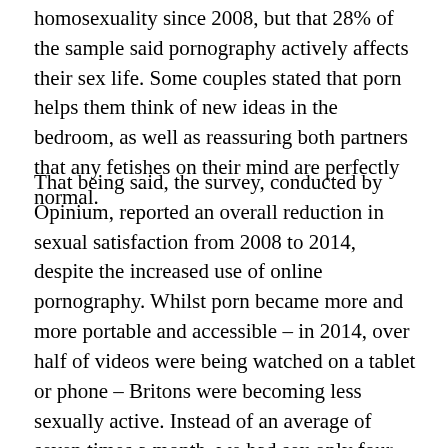homosexuality since 2008, but that 28% of the sample said pornography actively affects their sex life. Some couples stated that porn helps them think of new ideas in the bedroom, as well as reassuring both partners that any fetishes on their mind are perfectly normal.
That being said, the survey, conducted by Opinium, reported an overall reduction in sexual satisfaction from 2008 to 2014, despite the increased use of online pornography. Whilst porn became more and more portable and accessible – in 2014, over half of videos were being watched on a tablet or phone – Britons were becoming less sexually active. Instead of an average of seven times a month, we had sex only four times a month. Furthermore, one in five men felt dissatisfied with the size of their penis in contrast with one in seven men in 2008, possibly as a result of 'Big Dick' making it into the most popular categories on Pornhub. It is unfair to blame these changes on pornography